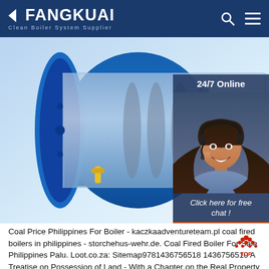FANGKUAI Clean Boiler System Supplier
[Figure (photo): Fangkuai industrial boiler product image showing a large blue steel boiler with transparent cutaway view revealing internal cylindrical components, flame visible at rear, set on a blue metal frame. Also shows a 24/7 online customer service chat widget with a woman wearing a headset, 'Click here for free chat!' text, and an orange QUOTATION button.]
Coal Price Philippines For Boiler - kaczkaadventureteam.pl coal fired boilers in philippines - storchehus-wehr.de. Coal Fired Boiler For Sale Philippines Palu. Loot.co.za: Sitemap9781436756518 1436756510 A Treatise on Possession of Land - With a Chapter on the Real Property Limitation Acts, 1833 and 1874 (1894), John M. View More; price of coal fired boiler in philippines.